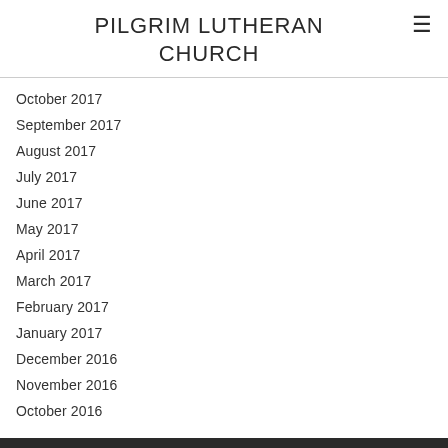PILGRIM LUTHERAN CHURCH
October 2017
September 2017
August 2017
July 2017
June 2017
May 2017
April 2017
March 2017
February 2017
January 2017
December 2016
November 2016
October 2016